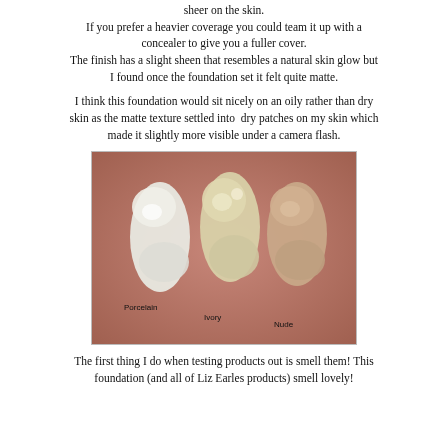sheer on the skin. If you prefer a heavier coverage you could team it up with a concealer to give you a fuller cover. The finish has a slight sheen that resembles a natural skin glow but I found once the foundation set it felt quite matte.
I think this foundation would sit nicely on an oily rather than dry skin as the matte texture settled into dry patches on my skin which made it slightly more visible under a camera flash.
[Figure (photo): Three foundation swatches on skin labeled Porcelain, Ivory, and Nude from left to right]
The first thing I do when testing products out is smell them! This foundation (and all of Liz Earles products) smell lovely!